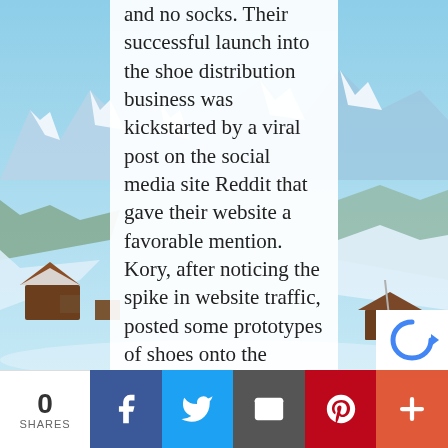[Figure (photo): Snowy mountain landscape with alpine peaks, ski resort buildings and slopes visible on left and right sides of the image, partially obscured by a white center text column.]
and no socks. Their successful launch into the shoe distribution business was kickstarted by a viral post on the social media site Reddit that gave their website a favorable mention. Kory, after noticing the spike in website traffic, posted some prototypes of shoes onto the website, quickly assigned them a price, and got over $50,000 in
0 SHARES | Facebook | Twitter | Email | Pinterest | More